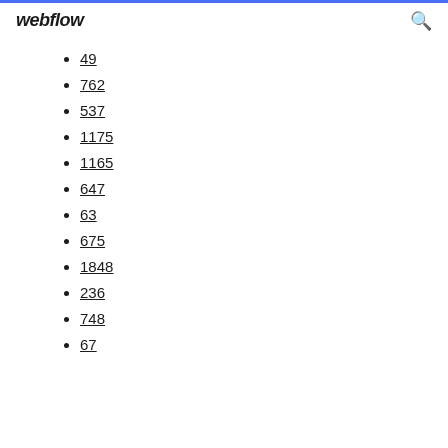webflow
49
762
537
1175
1165
647
63
675
1848
236
748
67